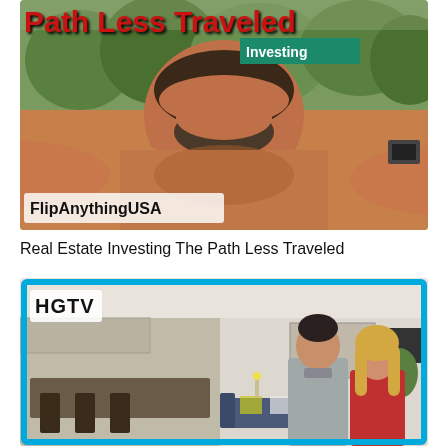[Figure (screenshot): YouTube thumbnail for 'Real Estate Investing The Path Less Traveled' by FlipAnythingUSA. Shows a middle-aged man with beard in a selfie-style outdoor photo with trees in background. Red bold text reads 'Path Less Traveled', teal badge reads 'Investing', white/gray badge reads 'FlipAnythingUSA'.]
Real Estate Investing The Path Less Traveled
[Figure (screenshot): YouTube thumbnail for an HGTV show. Shows a renovated home interior with open kitchen/living space and two hosts (man in gray shirt, woman with blonde hair) standing in foreground. Cyan/blue rectangular border frame overlaid. HGTV logo in top left.]